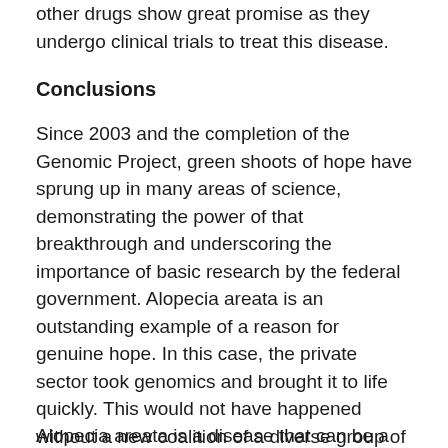other drugs show great promise as they undergo clinical trials to treat this disease.
Conclusions
Since 2003 and the completion of the Genomic Project, green shoots of hope have sprung up in many areas of science, demonstrating the power of that breakthrough and underscoring the importance of basic research by the federal government. Alopecia areata is an outstanding example of a reason for genuine hope. In this case, the private sector took genomics and brought it to life quickly. This would not have happened without a new coalition of a diverse group of policy associations representing specialized diseases that came together with one purpose – to develop a cure for each disease. By coordinating their efforts, they were able to see that a drug currently FDA-approved for one condition, rheumatoid arthritis, could be the cure for another, alopecia areata.
Alopecia areata is a disease that can be a punch line for